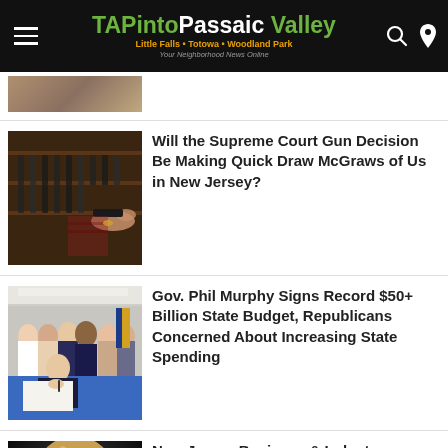TAPinto Passaic Valley — Little Falls • Totowa • Woodland Park — Your Neighborhood News Online
[Figure (photo): Partial thumbnail of first article, cropped at top]
Will the Supreme Court Gun Decision Be Making Quick Draw McGraws of Us in New Jersey?
[Figure (photo): Guns in a display case, person handling a firearm]
Gov. Phil Murphy Signs Record $50+ Billion State Budget, Republicans Concerned About Increasing State Spending
[Figure (photo): Gov. Phil Murphy signing a document at a table with officials behind him, NJ flag visible]
New Jersey Business & Industry Association President Optimistic About the Future, Says Current Business Climate 'Frustrating'
[Figure (photo): Portrait of a blonde woman against dark background]